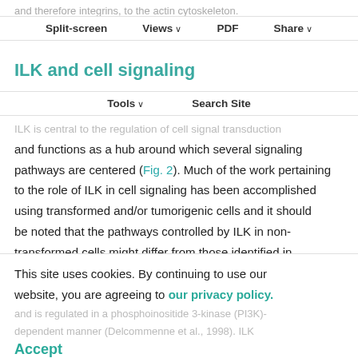and therefore integrins, to the actin cytoskeleton.
Split-screen  Views  PDF  Share
ILK and cell signaling
Tools  Search Site
ILK is central to the regulation of cell signal transduction and functions as a hub around which several signaling pathways are centered (Fig. 2). Much of the work pertaining to the role of ILK in cell signaling has been accomplished using transformed and/or tumorigenic cells and it should be noted that the pathways controlled by ILK in non-transformed cells might differ from those identified in cancer cells. The kinase activity of ILK is stimulated by integrins and soluble mediators, including growth factors and chemokines (Delcommenne et al., 1998; Imanishi et al., 2004), and is regulated in a phosphoinositide 3-kinase (PI3K)-dependent manner (Delcommenne et al., 1998). ILK
This site uses cookies. By continuing to use our website, you are agreeing to our privacy policy. Accept